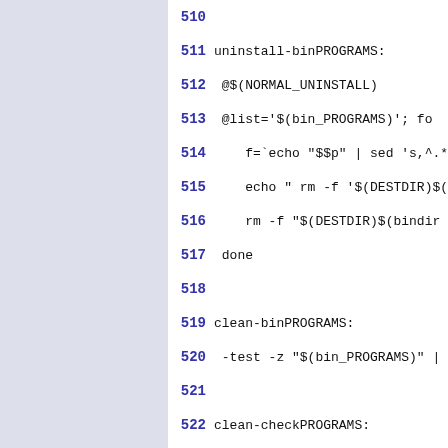510
511 uninstall-binPROGRAMS:
512  @$(NORMAL_UNINSTALL)
513  @list='$(bin_PROGRAMS)'; for
514     f=`echo "$$p" | sed 's,^.*
515     echo " rm -f '$(DESTDIR)$(
516     rm -f "$(DESTDIR)$(bindir)
517  done
518
519 clean-binPROGRAMS:
520  -test -z "$(bin_PROGRAMS)" |
521
522 clean-checkPROGRAMS:
523  -test -z "$(check_PROGRAMS)"
524
525 clean-noinstPROGRAMS: